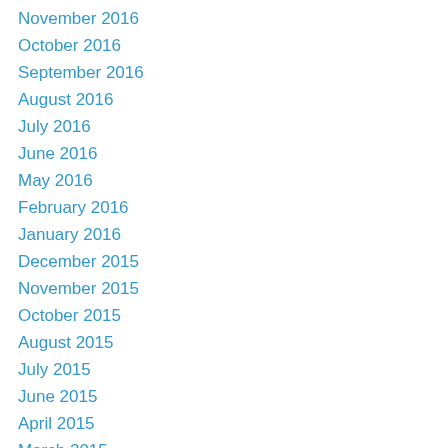November 2016
October 2016
September 2016
August 2016
July 2016
June 2016
May 2016
February 2016
January 2016
December 2015
November 2015
October 2015
August 2015
July 2015
June 2015
April 2015
March 2015
February 2015
January 2015
December 2014